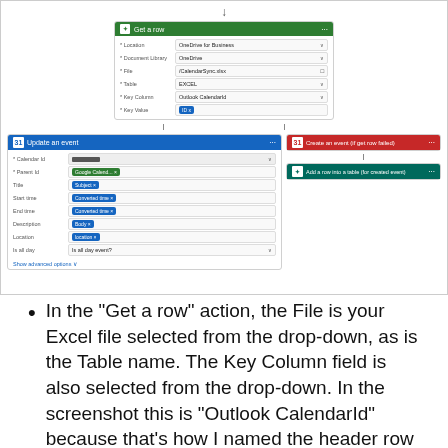[Figure (screenshot): A Microsoft Power Automate flow screenshot showing a 'Get a row' action connected to an 'Update an event' action and a 'Create an event (if get row failed)' action, with an 'Add a row into a table (for created event)' step beneath. The 'Get a row' card shows fields: Location (OneDrive for Business), Document Library (OneDrive), File (/CalendarSync.xlsx), Table (EXCEL), Key Column (Outlook CalendarId), Key Value (ID x). The 'Update an event' card shows fields: Calendar Id, Parent Id (Google Calend... x), Title (Subject x), Start time (Converted time x), End time (Converted time x), Description (Body x), Location (location x), Is all day (Is all day event?). The 'Create an event' card header shows 'Create an event (if get row failed)' and below it an 'Add a row into a table (for created event)' card.]
In the "Get a row" action, the File is your Excel file selected from the drop-down, as is the Table name. The Key Column field is also selected from the drop-down. In the screenshot this is "Outlook CalendarId" because that's how I named the header row